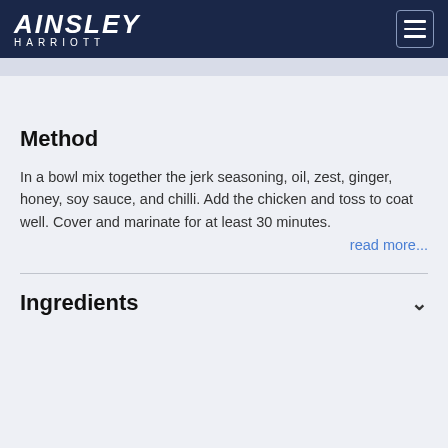AINSLEY HARRIOTT
Method
In a bowl mix together the jerk seasoning, oil, zest, ginger, honey, soy sauce, and chilli. Add the chicken and toss to coat well. Cover and marinate for at least 30 minutes.
read more...
Ingredients